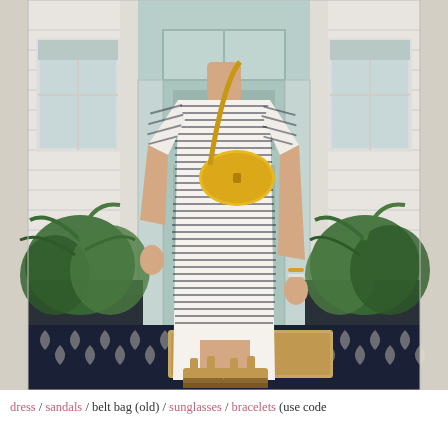[Figure (photo): A woman standing on a front porch doorstep wearing a white and dark navy striped form-fitting midi dress with short sleeves, a yellow crossbody belt bag, tan platform espadrille sandals, and bracelets. She is standing on a tan doormat that reads 'GOOD LOOKIN'' on a navy blue geometric patterned outdoor rug. Behind her is a mint/teal front door with a black door handle, white trim, and green fern plants in dark planters on either side.]
dress / sandals / belt bag (old) / sunglasses / bracelets (use code